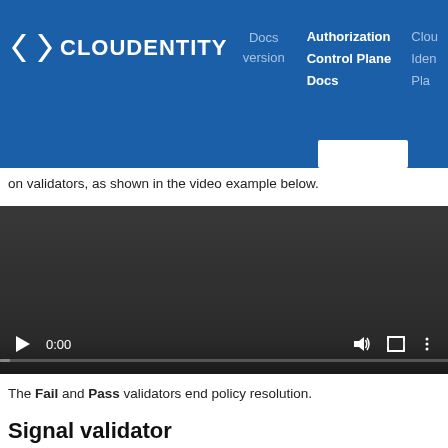CLOUDENTITY — Docs version | Authorization Control Plane Docs | Cloudentity Identity Platform
on validators, as shown in the video example below.
[Figure (screenshot): Embedded video player showing a dark background with playback controls: play button, time display 0:00, volume icon, fullscreen icon, and options icon, with a progress bar at the bottom.]
The Fail and Pass validators end policy resolution.
Signal validator